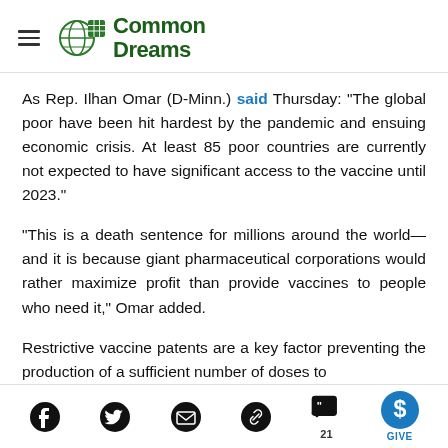Common Dreams
As Rep. Ilhan Omar (D-Minn.) said Thursday: "The global poor have been hit hardest by the pandemic and ensuing economic crisis. At least 85 poor countries are currently not expected to have significant access to the vaccine until 2023."
"This is a death sentence for millions around the world—and it is because giant pharmaceutical corporations would rather maximize profit than provide vaccines to people who need it," Omar added.
Restrictive vaccine patents are a key factor preventing the production of a sufficient number of doses to
Social sharing icons: Facebook, Twitter, Email, Link, Comments (21), Give